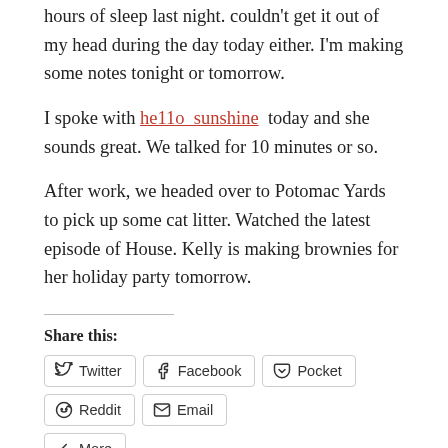hours of sleep last night.  couldn't get it out of my head during the day today either.  I'm making some notes tonight or tomorrow.
I spoke with he11o_sunshine  today and she sounds great.  We talked for 10 minutes or so.
After work, we headed over to Potomac Yards to pick up some cat litter.  Watched the latest episode of House.  Kelly is making brownies for her holiday party tomorrow.
Share this:
Twitter  Facebook  Pocket  Reddit  Email  More